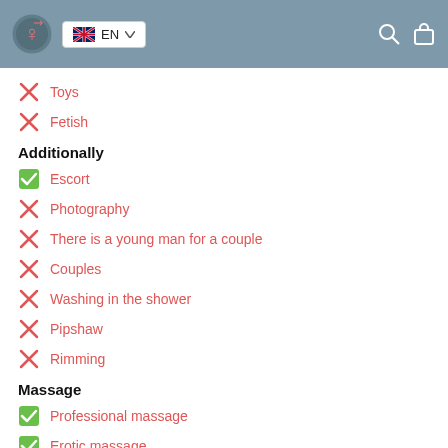EN
Toys
Fetish
Additionally
Escort
Photography
There is a young man for a couple
Couples
Washing in the shower
Pipshaw
Rimming
Massage
Professional massage
Erotic massage
Urologic massage
Thai massage